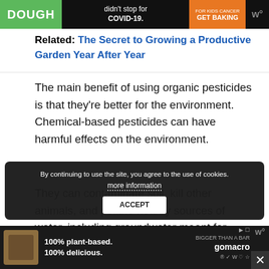[Figure (other): Advertisement banner at top: green 'DOUGH' logo on left, 'didn't stop for COVID-19.' text in center, orange 'GET BAKING' button, and 'w°' logo on right]
Related: The Secret to Growing a Productive Garden Year After Year
The main benefit of using organic pesticides is that they're better for the environment. Chemical-based pesticides can have harmful effects on the environment.
They can contaminate soil, kill other animals, and pollute nearby sources of water, including groundwater meant for drinking
Additionally, pesticides can leach into food and le... [obscured by overlays]
[Figure (other): Cookie consent banner: 'By continuing to use the site, you agree to the use of cookies. more information' with ACCEPT button]
[Figure (other): Bottom advertisement: gomacro bar '100% plant-based. 100% delicious.' with BIGGER THAN A BAR tagline and gomacro logo]